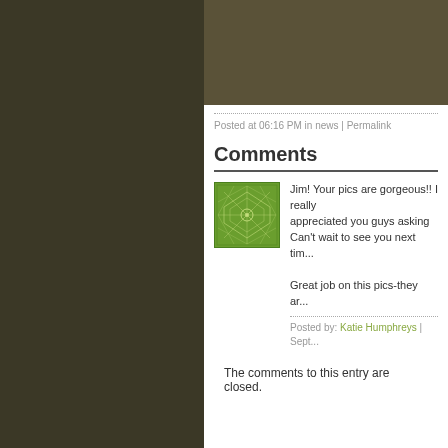[Figure (photo): Dark olive/brown colored image placeholder at top of content area]
Posted at 06:16 PM in news | Permalink
Comments
[Figure (illustration): Green geometric/mandala pattern avatar icon for commenter]
Jim! Your pics are gorgeous!! I really appreciated you guys asking Can't wait to see you next tim...

Great job on this pics-they ar...
Posted by: Katie Humphreys | Sept...
The comments to this entry are closed.